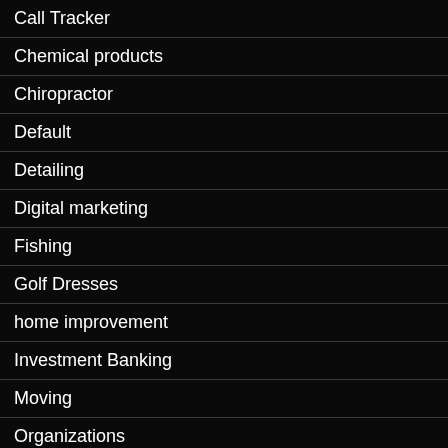Call Tracker
Chemical products
Chiropractor
Default
Detailing
Digital marketing
Fishing
Golf Dresses
home improvement
Investment Banking
Moving
Organizations
Professor